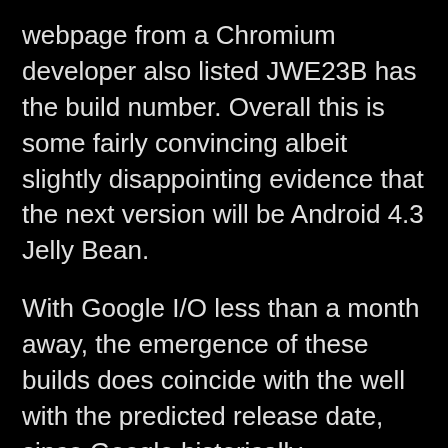webpage from a Chromium developer also listed JWE23B has the build number. Overall this is some fairly convincing albeit slightly disappointing evidence that the next version will be Android 4.3 Jelly Bean.
With Google I/O less than a month away, the emergence of these builds does coincide with the well with the predicted release date, since Google historically announces new versions of Android during Google I/O. The newest version of Android that is due to be announced should be in its final stages of testing and it is only during this final stage of testing does Google assign a build number. Remember there was also a rumour a couple of days ago that Google had delayed the release of Key Lime Pie, most likely to give developers and OEMs more time to adopt Jelly Bean. Jelly Bean currently